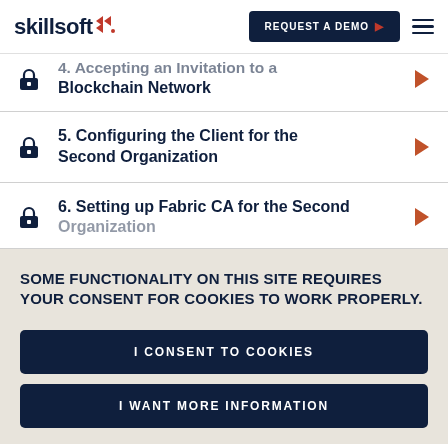skillsoft — REQUEST A DEMO
4. Accepting an Invitation to a Blockchain Network
5. Configuring the Client for the Second Organization
6. Setting up Fabric CA for the Second Organization
SOME FUNCTIONALITY ON THIS SITE REQUIRES YOUR CONSENT FOR COOKIES TO WORK PROPERLY.
I CONSENT TO COOKIES
I WANT MORE INFORMATION